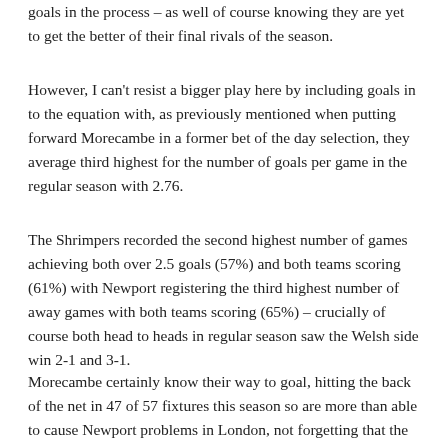goals in the process – as well of course knowing they are yet to get the better of their final rivals of the season.
However, I can't resist a bigger play here by including goals in to the equation with, as previously mentioned when putting forward Morecambe in a former bet of the day selection, they average third highest for the number of goals per game in the regular season with 2.76.
The Shrimpers recorded the second highest number of games achieving both over 2.5 goals (57%) and both teams scoring (61%) with Newport registering the third highest number of away games with both teams scoring (65%) – crucially of course both head to heads in regular season saw the Welsh side win 2-1 and 3-1.
Morecambe certainly know their way to goal, hitting the back of the net in 47 of 57 fixtures this season so are more than able to cause Newport problems in London, not forgetting that the side from the North West also finished on place higher and five points